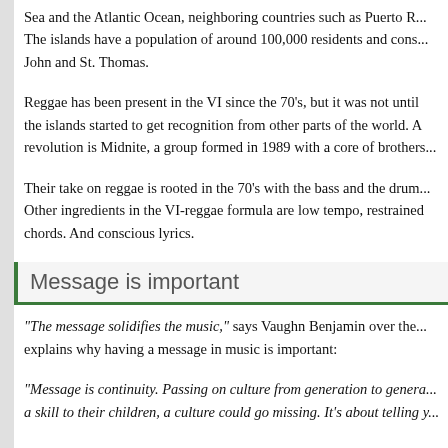Sea and the Atlantic Ocean, neighboring countries such as Puerto R... The islands have a population of around 100,000 residents and cons... John and St. Thomas.
Reggae has been present in the VI since the 70's, but it was not until the islands started to get recognition from other parts of the world. A revolution is Midnite, a group formed in 1989 with a core of brothers...
Their take on reggae is rooted in the 70's with the bass and the drum... Other ingredients in the VI-reggae formula are low tempo, restrained chords. And conscious lyrics.
Message is important
“The message solidifies the music,” says Vaughn Benjamin over the... explains why having a message in music is important:
“Message is continuity. Passing on culture from generation to genera... a skill to their children, a culture could go missing. It's about telling y...